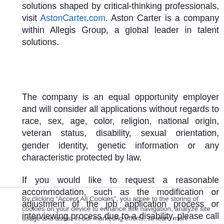solutions shaped by critical-thinking professionals, visit AstonCarter.com. Aston Carter is a company within Allegis Group, a global leader in talent solutions.
The company is an equal opportunity employer and will consider all applications without regards to race, sex, age, color, religion, national origin, veteran status, disability, sexual orientation, gender identity, genetic information or any characteristic protected by law.
If you would like to request a reasonable accommodation, such as the modification or adjustment of the job application process or interviewing process due to a disability, please call 888-237-6835 or email astoncarteraccommodation@astoncarter.com for other accommodation options. However, if you have questions about this position, please contact the Recruiter located at the bottom of the job posting.
By clicking “Accept All Cookies”, you agree to the storing of cookies on your device to enhance site navigation, analyze site usage and assist in our marketing efforts. To learn more